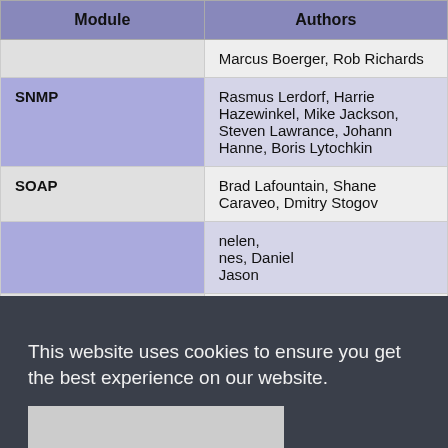| Module | Authors |
| --- | --- |
|  | Marcus Boerger, Rob Richards |
| SNMP | Rasmus Lerdorf, Harrie Hazewinkel, Mike Jackson, Steven Lawrance, Johann Hanne, Boris Lytochkin |
| SOAP | Brad Lafountain, Shane Caraveo, Dmitry Stogov |
|  | ...helen, ...nes, Daniel ...Jason |
|  | ...ner, ...ss |
| SQLite3 | Scott MacVicar, Ilia |
This website uses cookies to ensure you get the best experience on our website.